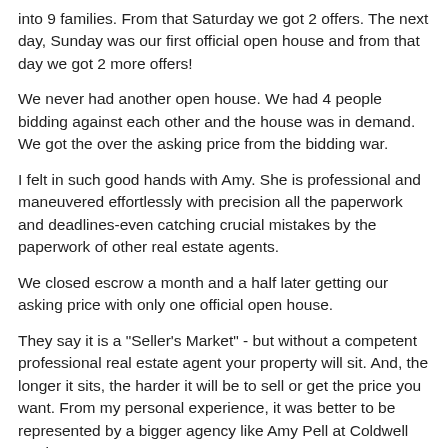into 9 families. From that Saturday we got 2 offers. The next day, Sunday was our first official open house and from that day we got 2 more offers!
We never had another open house. We had 4 people bidding against each other and the house was in demand. We got the over the asking price from the bidding war.
I felt in such good hands with Amy. She is professional and maneuvered effortlessly with precision all the paperwork and deadlines-even catching crucial mistakes by the paperwork of other real estate agents.
We closed escrow a month and a half later getting our asking price with only one official open house.
They say it is a "Seller's Market" - but without a competent professional real estate agent your property will sit. And, the longer it sits, the harder it will be to sell or get the price you want. From my personal experience, it was better to be represented by a bigger agency like Amy Pell at Coldwell Banker.